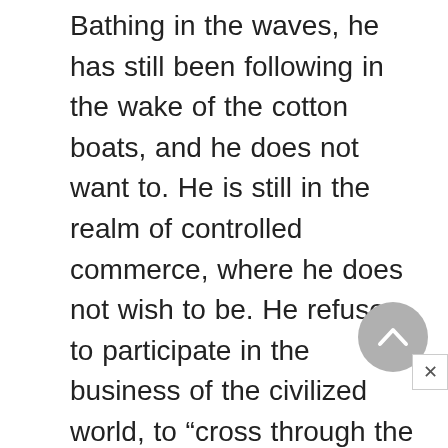Bathing in the waves, he has still been following in the wake of the cotton boats, and he does not want to. He is still in the realm of controlled commerce, where he does not wish to be. He refuses to participate in the business of the civilized world, to “cross through the pride of flags and flames,” to navigate his way through nationalism and war. And, he concludes with a refusal to “swim under the terrible eyes of prison ships.” He makes a concluding